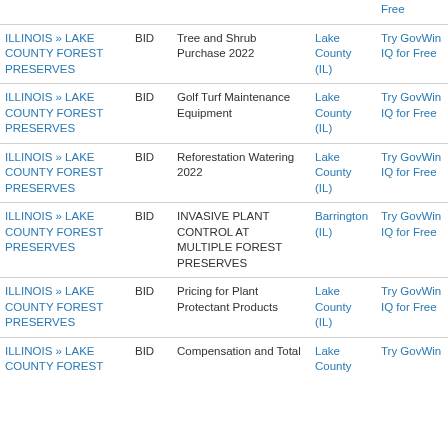| Agency | Type | Title | Location | Action |
| --- | --- | --- | --- | --- |
| ILLINOIS » LAKE COUNTY FOREST PRESERVES | BID | Tree and Shrub Purchase 2022 | Lake County (IL) | Try GovWin IQ for Free |
| ILLINOIS » LAKE COUNTY FOREST PRESERVES | BID | Golf Turf Maintenance Equipment | Lake County (IL) | Try GovWin IQ for Free |
| ILLINOIS » LAKE COUNTY FOREST PRESERVES | BID | Reforestation Watering 2022 | Lake County (IL) | Try GovWin IQ for Free |
| ILLINOIS » LAKE COUNTY FOREST PRESERVES | BID | INVASIVE PLANT CONTROL AT MULTIPLE FOREST PRESERVES | Barrington (IL) | Try GovWin IQ for Free |
| ILLINOIS » LAKE COUNTY FOREST PRESERVES | BID | Pricing for Plant Protectant Products | Lake County (IL) | Try GovWin IQ for Free |
| ILLINOIS » LAKE COUNTY FOREST | BID | Compensation and Total | Lake County | Try GovWin |